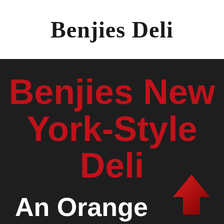Benjies Deli
Benjies New York-Style Deli
An Orange